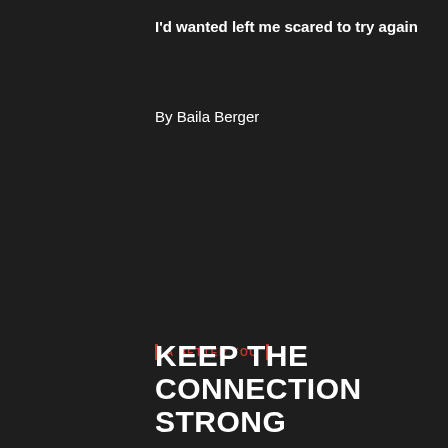I'd wanted left me scared to try again
By Baila Berger
A BETTER YOU
KEEP THE CONNECTION STRONG